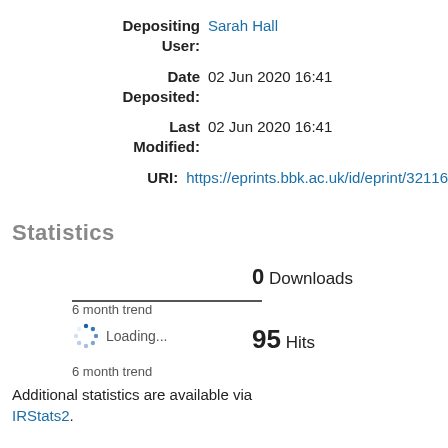Depositing User: Sarah Hall
Date Deposited: 02 Jun 2020 16:41
Last Modified: 02 Jun 2020 16:41
URI: https://eprints.bbk.ac.uk/id/eprint/32116
Statistics
0 Downloads
6 month trend
Loading...
95 Hits
6 month trend
Additional statistics are available via IRStats2.